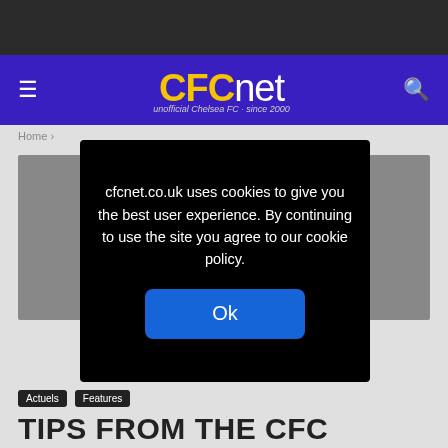CFCnet — unofficial Chelsea FC · since 2000
Home >
cfcnet.co.uk uses cookies to give you the best user experience. By continuing to use the site you agree to our cookie policy.
Ok
Actuels
Features
TIPS FROM THE CFC